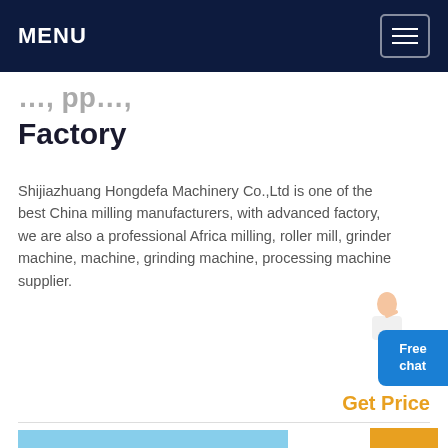MENU
Factory
Shijiazhuang Hongdefa Machinery Co.,Ltd is one of the best China milling manufacturers, with advanced factory, we are also a professional Africa milling, roller mill, grinder machine, machine, grinding machine, processing machine supplier.
Get Price
[Figure (photo): Industrial milling equipment with white towers and pipes at a factory site under blue sky]